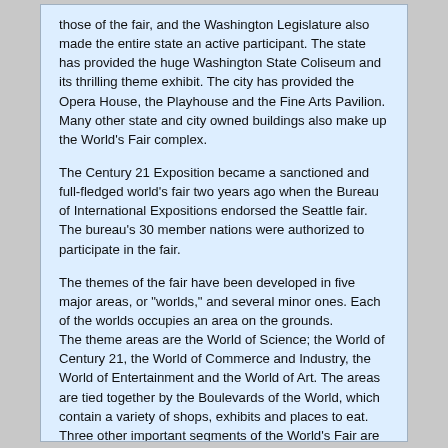those of the fair, and the Washington Legislature also made the entire state an active participant. The state has provided the huge Washington State Coliseum and its thrilling theme exhibit. The city has provided the Opera House, the Playhouse and the Fine Arts Pavilion. Many other state and city owned buildings also make up the World's Fair complex.
The Century 21 Exposition became a sanctioned and full-fledged world's fair two years ago when the Bureau of International Expositions endorsed the Seattle fair. The bureau's 30 member nations were authorized to participate in the fair.
The themes of the fair have been developed in five major areas, or "worlds," and several minor ones. Each of the worlds occupies an area on the grounds.
The theme areas are the World of Science; the World of Century 21, the World of Commerce and Industry, the World of Entertainment and the World of Art. The areas are tied together by the Boulevards of the World, which contain a variety of shops, exhibits and places to eat. Three other important segments of the World's Fair are the Food Circus, a large building near the center of the grounds which is filled with restaurants, snack bars and soft drink stands, the Gayway, which is the amusement zone, and Show Street, which is the adult entertainment center.